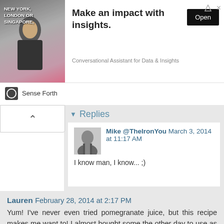[Figure (other): Advertisement banner: Sense Forth company ad with 'Make an impact with insights.' headline, 'Conversational Assistant for Data & Insights' subtext, and an Open button. Background shows a person with text 'NEW YORK, LONDON OR SINGAPORE.']
Replies
Mike @TheIronYou March 3, 2014 at 11:17 AM
I know man, I know... ;)
Reply
Lauren February 28, 2014 at 2:17 PM
Yum! I've never even tried pomegranate juice, but this recipe makes me want to! I almost bought some the other day to use as a food coloring, but I didn't know what I'd